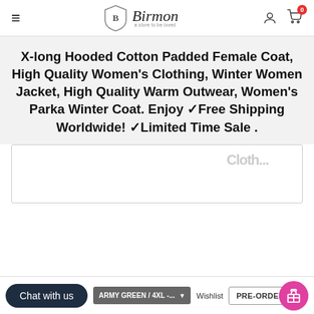Birmon — navigation header with logo, hamburger menu, user icon, cart icon (0)
X-long Hooded Cotton Padded Female Coat, High Quality Women's Clothing, Winter Women Jacket, High Quality Warm Outwear, Women's Parka Winter Coat. Enjoy ✓Free Shipping Worldwide! ✓Limited Time Sale .
[Figure (screenshot): Bottom section of e-commerce product page with a white card area, 'Chat with us' dark button, 'Clothing' partial label, a dropdown selector showing 'ARMY GREEN / 4XL -...', Wishlist link, PRE-ORDERS button, and a pink gift icon button]
ARMY GREEN / 4XL - ... ▼   Wishlist   PRE-ORDERS